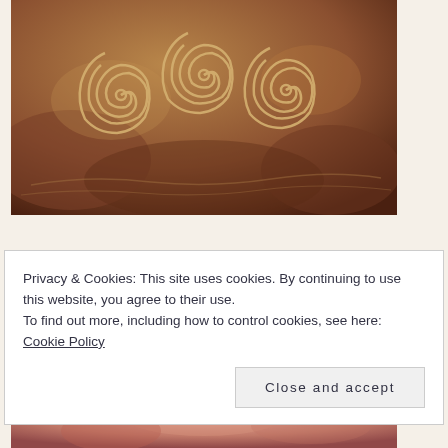[Figure (photo): Close-up photograph of ancient stone carving showing a triskelion or triple spiral motif carved into brownish-orange rock surface]
Privacy & Cookies: This site uses cookies. By continuing to use this website, you agree to their use.
To find out more, including how to control cookies, see here: Cookie Policy
Close and accept
[Figure (photo): Partial photograph visible at bottom of page, appears to show a face or portrait with pinkish tones]